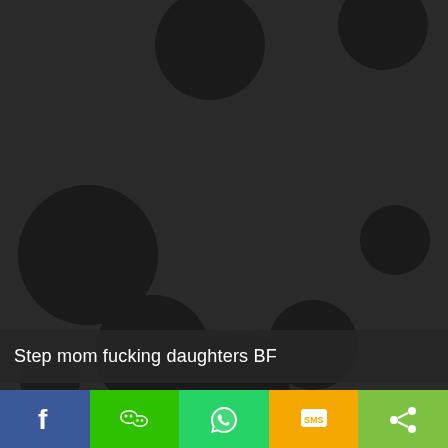[Figure (illustration): Dark gray background with multiple large black polka dots of varying sizes scattered across the image, resembling a dark spotted pattern.]
Step mom fucking daughters BF
[Figure (infographic): Social sharing bottom bar with five colored buttons: Facebook (blue) with f icon, WeChat (green) with WeChat icon, WhatsApp (green) with phone icon, SMS (yellow/orange) with SMS icon, and Share (light green) with share icon.]